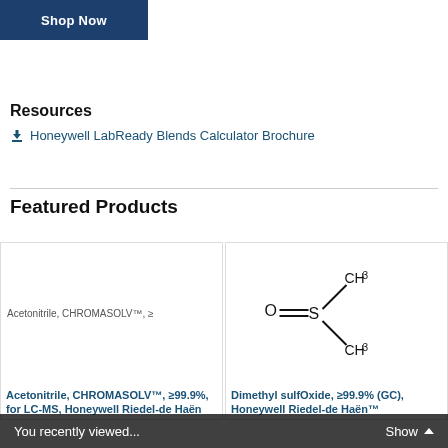[Figure (other): Shop Now button with dark navy blue background and white bold text]
Resources
Honeywell LabReady Blends Calculator Brochure (download link)
Featured Products
[Figure (photo): Acetonitrile CHROMASOLV product image (broken image placeholder)]
Acetonitrile, CHROMASOLV™, ≥99.9%, for LC-MS, Honeywell Riedel-de Haën
[Figure (illustration): Chemical structure diagram of Dimethyl sulfoxide (DMSO): O=S with two CH3 groups]
Dimethyl sulfOxide, ≥99.9% (GC), Honeywell Riedel-de Haën™
You recently viewed...
Show ▲